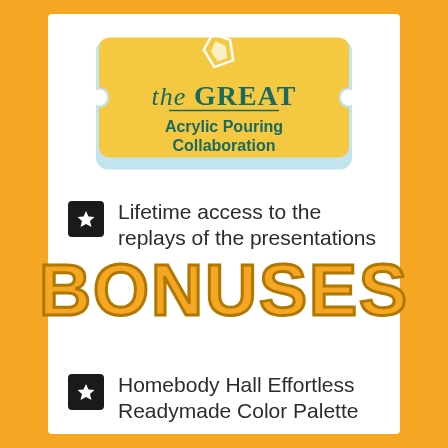[Figure (illustration): Golden ticket shape with 'The GREAT Acrylic Pouring Collaboration' logo, featuring a small diamond/gem icon above the script text]
Lifetime access to the replays of the presentations
BONUSES
Homebody Hall Effortless Readymade Color Palette